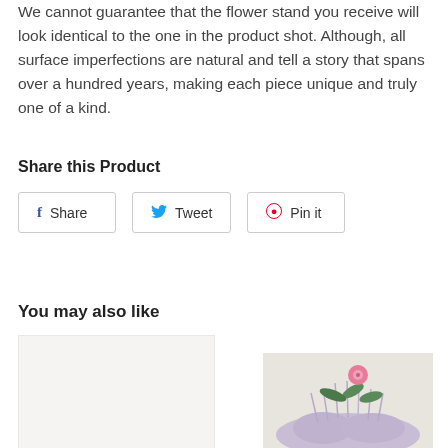We cannot guarantee that the flower stand you receive will look identical to the one in the product shot. Although, all surface imperfections are natural and tell a story that spans over a hundred years, making each piece unique and truly one of a kind.
Share this Product
Share | Tweet | Pin it
You may also like
[Figure (photo): Light beige/cream product photo placeholder (left)]
[Figure (photo): Floral arrangement photo with lavender, green leaves, and pink flower against light wall (right)]